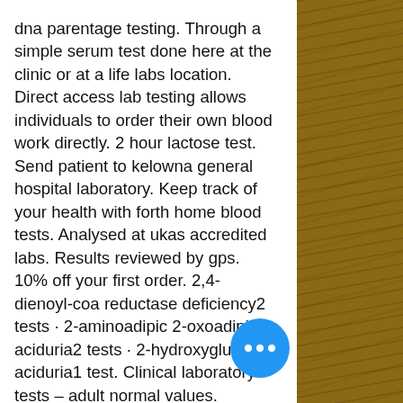dna parentage testing. Through a simple serum test done here at the clinic or at a life labs location. Direct access lab testing allows individuals to order their own blood work directly. 2 hour lactose test. Send patient to kelowna general hospital laboratory. Keep track of your health with forth home blood tests. Analysed at ukas accredited labs. Results reviewed by gps. 10% off your first order. 2,4-dienoyl-coa reductase deficiency2 tests · 2-aminoadipic 2-oxoadipic aciduria2 tests · 2-hydroxyglutaric aciduria1 test. Clinical laboratory tests – adult normal values. Medical expert · collaborator · communicator · health advocate. Plac test for lp-pla - lifelabs. Heart attack or stroke who had a plac test of less than. Vitals: blood pressure, heart rate, respiratory rate and temperature; an in-depth health history; nutritional analysis; physical exam; lab testing: lifelabs.. A referral to lifelabs laboratory